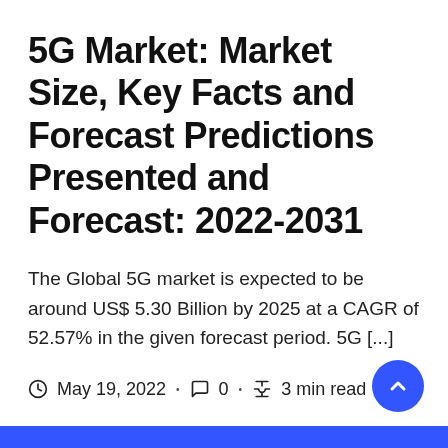5G Market: Market Size, Key Facts and Forecast Predictions Presented and Forecast: 2022-2031
The Global 5G market is expected to be around US$ 5.30 Billion by 2025 at a CAGR of 52.57% in the given forecast period. 5G [...]
May 19, 2022 · 0 · 3 min read